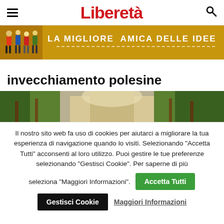Liberetà
[Figure (infographic): Yellow banner with silhouetted people on left and text 'LA MIGLIORE AMICA DELLE IDEE' on golden background]
invecchiamento polesine
[Figure (photo): A forest path with trees on both sides, natural outdoor scene]
Il nostro sito web fa uso di cookies per aiutarci a migliorare la tua esperienza di navigazione quando lo visiti. Selezionando "Accetta Tutti" acconsenti al loro utilizzo. Puoi gestire le tue preferenze selezionando "Gestisci Cookie". Per saperne di più seleziona "Maggiori Informazioni".
Accetta Tutti
Gestisci Cookie
Maggiori Informazioni